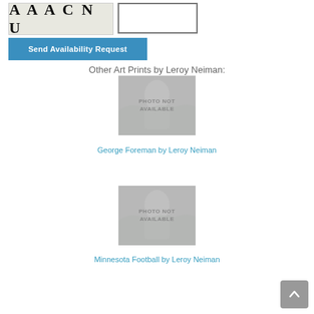[Figure (logo): AAACNU logo text with decorative serif font on textured background]
Send Availability Request
Other Art Prints by Leroy Neiman:
[Figure (photo): Photo not available placeholder - George Foreman by Leroy Neiman]
George Foreman by Leroy Neiman
[Figure (photo): Photo not available placeholder - Minnesota Football by Leroy Neiman]
Minnesota Football by Leroy Neiman